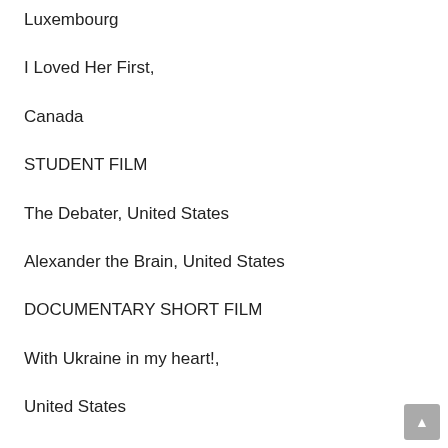Luxembourg
I Loved Her First,
Canada
STUDENT FILM
The Debater, United States
Alexander the Brain, United States
DOCUMENTARY SHORT FILM
With Ukraine in my heart!,
United States
ANIMATED SHORT FILM